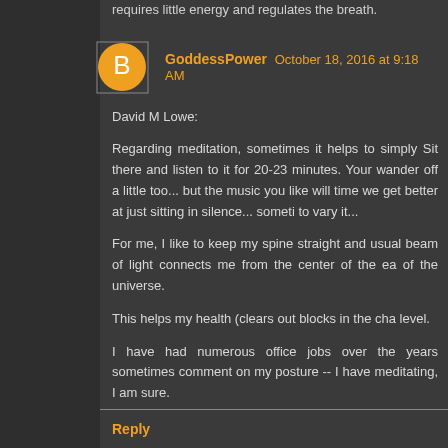requires little energy and regulates the breath.
GoddessPower  October 18, 2016 at 9:18 AM
David M Lowe:
Regarding meditation, sometimes it helps to simply Sit there and listen to it for 20-23 minutes. Your wander off a little too... but the music you like will time we get better at just sitting in silence... someti to vary it...
For me, I like to keep my spine straight and usual beam of light connects me from the center of the ea of the universe.
This helps my health (clears out blocks in the cha level.
I have had numerous office jobs over the years sometimes comment on my posture -- I have meditating, I am sure.
Reply